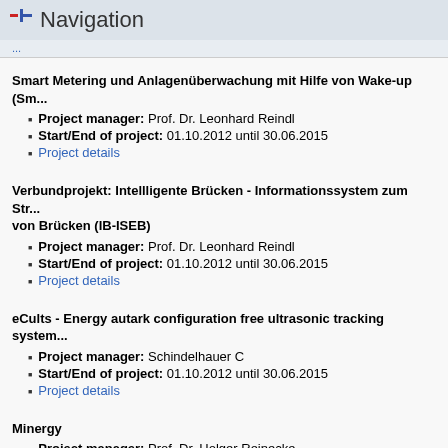Navigation
...
Smart Metering und Anlagenüberwachung mit Hilfe von Wake-up (Sm...
Project manager: Prof. Dr. Leonhard Reindl
Start/End of project: 01.10.2012 until 30.06.2015
Project details
Verbundprojekt: Intellligente Brücken - Informationssystem zum Str... von Brücken (IB-ISEB)
Project manager: Prof. Dr. Leonhard Reindl
Start/End of project: 01.10.2012 until 30.06.2015
Project details
eCults - Energy autark configuration free ultrasonic tracking system...
Project manager: Schindelhauer C
Start/End of project: 01.10.2012 until 30.06.2015
Project details
Minergy
Project manager: Prof. Dr. Holger Reinecke
Start/End of project: 01.10.2012 until 31.03.2015